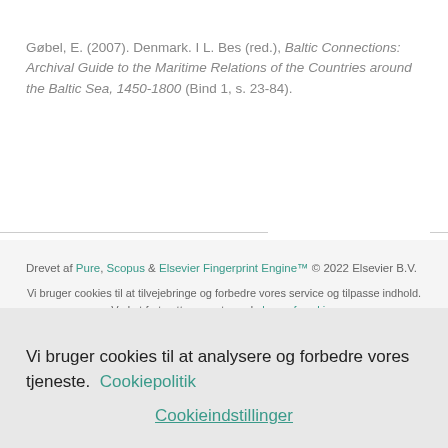Gøbel, E. (2007). Denmark. I L. Bes (red.), Baltic Connections: Archival Guide to the Maritime Relations of the Countries around the Baltic Sea, 1450-1800 (Bind 1, s. 23-84).
Drevet af Pure, Scopus & Elsevier Fingerprint Engine™ © 2022 Elsevier B.V.
Vi bruger cookies til at tilvejebringe og forbedre vores service og tilpasse indhold. Ved at fortsætte accepterer du brug af cookies
Vi bruger cookies til at analysere og forbedre vores tjeneste. Cookiepolitik
Cookieindstillinger